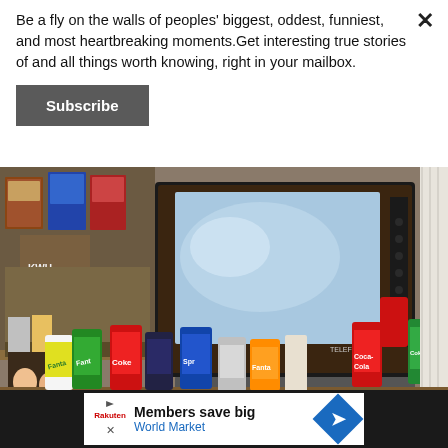Be a fly on the walls of peoples' biggest, oddest, funniest, and most heartbreaking moments.Get interesting true stories of and all things worth knowing, right in your mailbox.
Subscribe
[Figure (photo): A retro Telefunken television set on a wooden shelf surrounded by various soft drink cans (Fanta, Coke, Sprite, Fanta Orange) and VHS/movie cases visible in the background. Multiple Coca-Cola cans stacked on the right side.]
Members save big
World Market